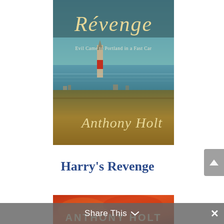[Figure (illustration): Book cover for 'Harry's Revenge' by Anthony Holt showing a lighthouse on a coastal landscape with teal sea and sky. Title in cursive script reads 'Révenge', subtitle 'Evil Came to Portland in a Fast Car', author name 'Anthony Holt' in cursive at bottom.]
Harry's Revenge
[Figure (illustration): Partial bottom book cover showing red/orange fiery tones with text 'ANTHONY HOLT' partially visible.]
Share This